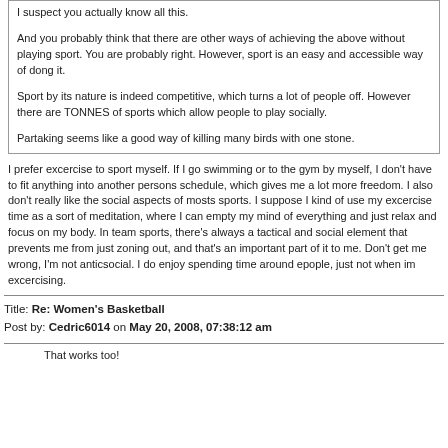I suspect you actually know all this.

And you probably think that there are other ways of achieving the above without playing sport. You are probably right. However, sport is an easy and accessible way of dong it.

Sport by its nature is indeed competitive, which turns a lot of people off. However there are TONNES of sports which allow people to play socially.

Partaking seems like a good way of killing many birds with one stone.
I prefer excercise to sport myself. If I go swimming or to the gym by myself, I don't have to fit anything into another persons schedule, which gives me a lot more freedom. I also don't really like the social aspects of mosts sports. I suppose I kind of use my excercise time as a sort of meditation, where I can empty my mind of everything and just relax and focus on my body. In team sports, there's always a tactical and social element that prevents me from just zoning out, and that's an important part of it to me. Don't get me wrong, I'm not anticsocial. I do enjoy spending time around epople, just not when im excercising.
Title: Re: Women's Basketball
Post by: Cedric6014 on May 20, 2008, 07:38:12 am
That works too!